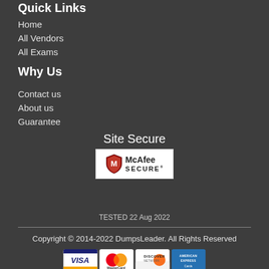Quick Links
Home
All Vendors
All Exams
Why Us
Contact us
About us
Guarantee
Site Secure
[Figure (logo): McAfee SECURE logo with shield icon, TESTED 22 Aug 2022]
TESTED 22 Aug 2022
Copyright © 2014-2022 DumpsLeader. All Rights Reserved
[Figure (other): Payment icons: VISA, MasterCard, Discover Network, American Express Cards]